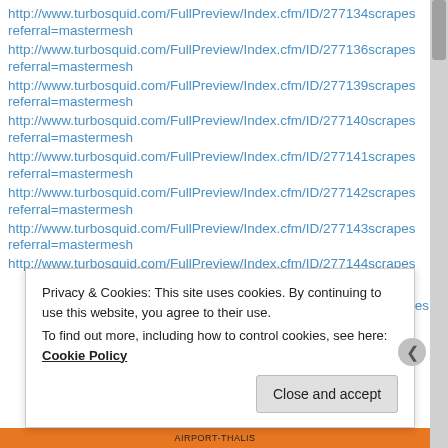http://www.turbosquid.com/FullPreview/Index.cfm/ID/277134scrapes referral=mastermesh
http://www.turbosquid.com/FullPreview/Index.cfm/ID/277136scrapes referral=mastermesh
http://www.turbosquid.com/FullPreview/Index.cfm/ID/277139scrapes referral=mastermesh
http://www.turbosquid.com/FullPreview/Index.cfm/ID/277140scrapes referral=mastermesh
http://www.turbosquid.com/FullPreview/Index.cfm/ID/277141scrapes referral=mastermesh
http://www.turbosquid.com/FullPreview/Index.cfm/ID/277142scrapes referral=mastermesh
http://www.turbosquid.com/FullPreview/Index.cfm/ID/277143scrapes referral=mastermesh
http://www.turbosquid.com/FullPreview/Index.cfm/ID/277144scrapes
Privacy & Cookies: This site uses cookies. By continuing to use this website, you agree to their use. To find out more, including how to control cookies, see here: Cookie Policy